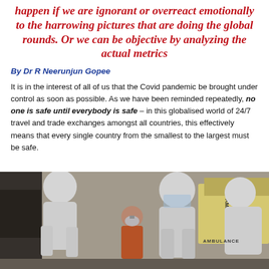happen if we are ignorant or overreact emotionally to the harrowing pictures that are doing the global rounds. Or we can be objective by analyzing the actual metrics
By Dr R Neerunjun Gopee
It is in the interest of all of us that the Covid pandemic be brought under control as soon as possible. As we have been reminded repeatedly, no one is safe until everybody is safe – in this globalised world of 24/7 travel and trade exchanges amongst all countries, this effectively means that every single country from the smallest to the largest must be safe.
[Figure (photo): Healthcare workers in white PPE suits attend to a patient wearing an oxygen mask outside an ambulance. The scene depicts COVID-19 medical response.]